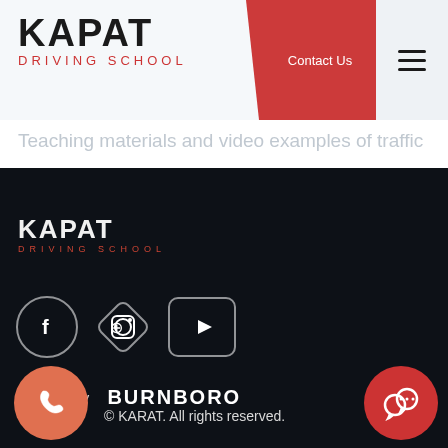[Figure (logo): KAPAT DRIVING SCHOOL logo in header, black bold text with red subtitle]
[Figure (screenshot): Red parallelogram Contact Us button in header]
[Figure (screenshot): Hamburger menu icon in header]
Teaching materials and video examples of traffic
[Figure (logo): KAPAT DRIVING SCHOOL logo in dark footer, white text with red subtitle]
[Figure (screenshot): Social media icons: Facebook circle, Instagram diamond, YouTube rounded rectangle]
Created by BURNBORO
[Figure (screenshot): Orange phone button circle at bottom left]
© KARAT. All rights reserved.
[Figure (screenshot): Red chat bubble button circle at bottom right]